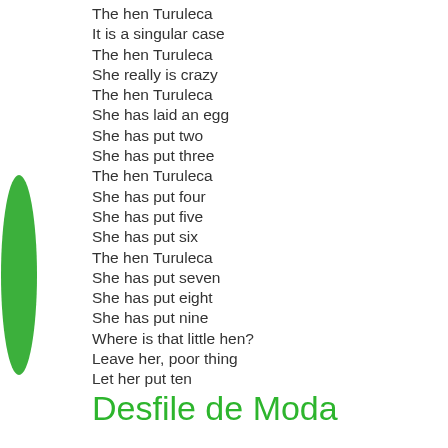[Figure (illustration): Green leaf/bookmark shape on the left margin]
The hen Turuleca
It is a singular case
The hen Turuleca
She really is crazy
The hen Turuleca
She has laid an egg
She has put two
She has put three
The hen Turuleca
She has put four
She has put five
She has put six
The hen Turuleca
She has put seven
She has put eight
She has put nine
Where is that little hen?
Leave her, poor thing
Let her put ten
Desfile de Moda